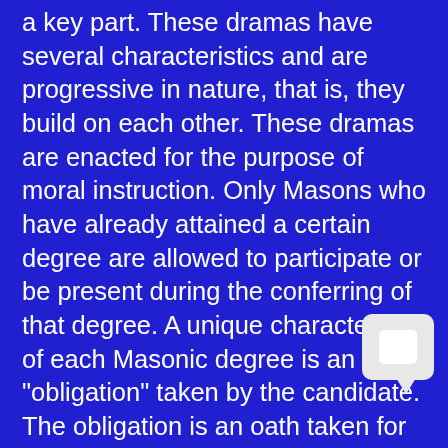a key part. These dramas have several characteristics and are progressive in nature, that is, they build on each other. These dramas are enacted for the purpose of moral instruction. Only Masons who have already attained a certain degree are allowed to participate or be present during the conferring of that degree. A unique characteristic of each Masonic degree is an "obligation" taken by the candidate. The obligation is an oath taken for the purpose of instructing the candidate in his Masonic duty.The three degrees have a biblical basis. Much biblical imagery is used in the ritual of the degrees. The central image is that of the building of King Solomon's Temple, as meticulously described for us in the Old Testament books of I Kings and II Chronicles. As the building of the Temple progressed stage-by-stage, so the Freemason constructs his own personal moral edifice degree-by-degree. There is some memory work the candidate must learn after